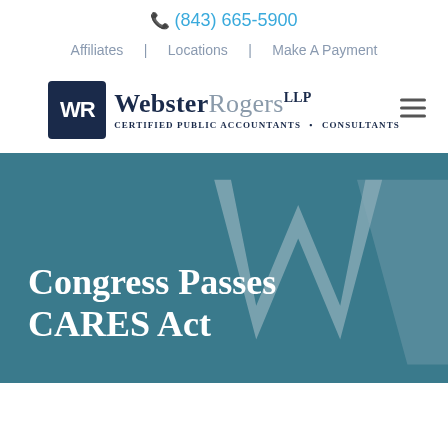(843) 665-5900
Affiliates | Locations | Make A Payment
[Figure (logo): Webster Rogers LLP Certified Public Accountants • Consultants logo with WR badge]
Congress Passes CARES Act